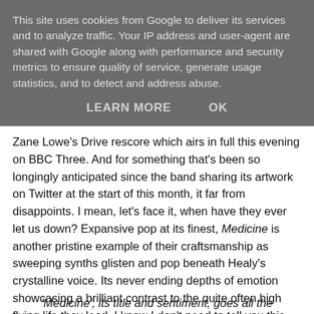This site uses cookies from Google to deliver its services and to analyze traffic. Your IP address and user-agent are shared with Google along with performance and security metrics to ensure quality of service, generate usage statistics, and to detect and address abuse.
LEARN MORE   OK
Zane Lowe's Drive rescore which airs in full this evening on BBC Three. And for something that's been so longingly anticipated since the band sharing its artwork on Twitter at the start of this month, it far from disappoints. I mean, let's face it, when have they ever let us down? Expansive pop at its finest, Medicine is another pristine example of their craftsmanship as sweeping synths glisten and pop beneath Healy's crystalline voice. Its never ending depths of emotion showcasing a brilliant contrast to the quite often high flying life they lead. I know I don't need to tell you this but The 1975 really are one of the greatest band's I've witnessed rise from the bottom to the top. This only adding to their weightable evidence.
'Medicine', its title and sentiment, goes all the